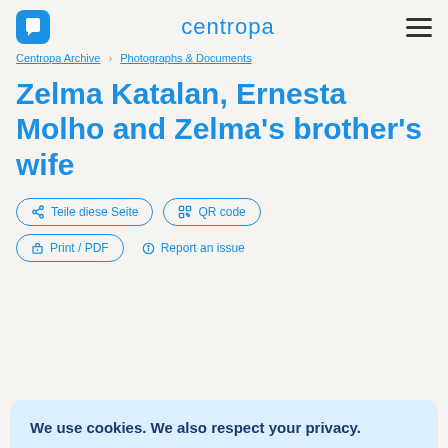centropa
Centropa Archive > Photographs & Documents
Zelma Katalan, Ernesta Molho and Zelma's brother's wife
Teile diese Seite
QR code
Print / PDF
Report an issue
We use cookies. We also respect your privacy.